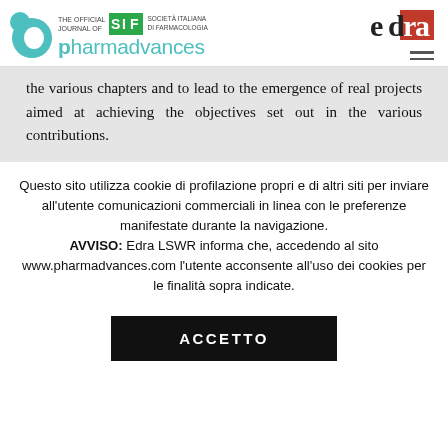pharmadvances — THE OFFICIAL JOURNAL OF SIF SOCIETA ITALIANA DI FARMACOLOGIA | edra
the various chapters and to lead to the emergence of real projects aimed at achieving the objectives set out in the various contributions.
Questo sito utilizza cookie di profilazione propri e di altri siti per inviare all'utente comunicazioni commerciali in linea con le preferenze manifestate durante la navigazione. AVVISO: Edra LSWR informa che, accedendo al sito www.pharmadvances.com l'utente acconsente all'uso dei cookies per le finalità sopra indicate.
ACCETTO